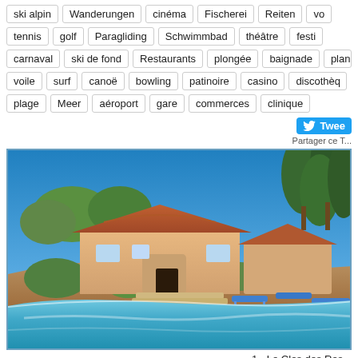ski alpin | Wanderungen | cinéma | Fischerei | Reiten | vo...
tennis | golf | Paragliding | Schwimmbad | théâtre | festi...
carnaval | ski de fond | Restaurants | plongée | baignade | planch...
voile | surf | canoë | bowling | patinoire | casino | discothèq...
plage | Meer | aéroport | gare | commerces | clinique
Twee... Partager ce T...
[Figure (photo): Exterior view of a Provençal villa with terracotta roof tiles, surrounded by pine trees and Mediterranean vegetation, with a swimming pool in the foreground with blue sun loungers]
1 - Le Clos des Ros...